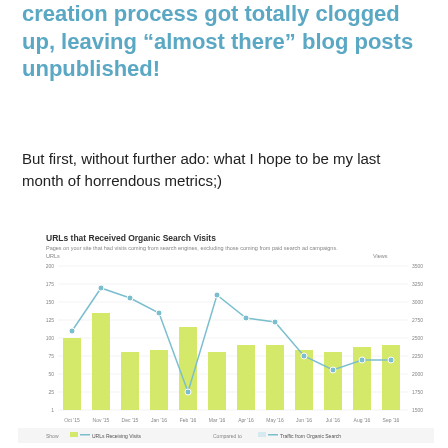creation process got totally clogged up, leaving “almost there” blog posts unpublished!
But first, without further ado: what I hope to be my last month of horrendous metrics;)
[Figure (bar-chart): URLs that Received Organic Search Visits]